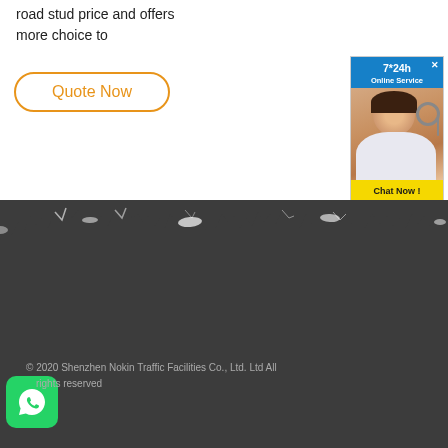road stud price and offers more choice to
Quote Now
[Figure (screenshot): Online service advertisement box with '7*24h Online Service' header, photo of woman with headset, and 'Chat Now!' yellow button]
[Figure (photo): Jagged dark silhouette torn-paper transition to dark footer section]
[Figure (logo): WhatsApp green rounded square icon]
© 2020 Shenzhen Nokin Traffic Facilities Co., Ltd. Ltd All rights reserved